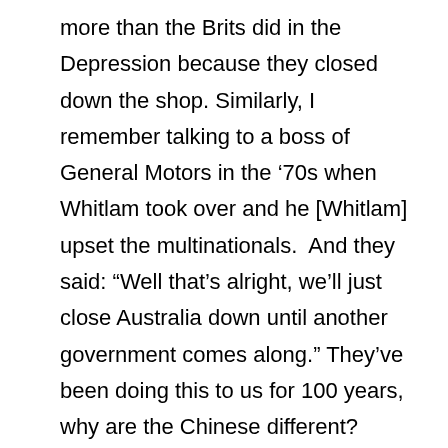more than the Brits did in the Depression because they closed down the shop. Similarly, I remember talking to a boss of General Motors in the ‘70s when Whitlam took over and he [Whitlam] upset the multinationals.  And they said: “Well that’s alright, we’ll just close Australia down until another government comes along.” They’ve been doing this to us for 100 years, why are the Chinese different?
What Invincible Historical Ignorance.  The British did not close “down the shop” in Australia during the Great Depression.   In fact, Australia’s rate of recovery during the 1930s was only slightly behind that of Britain and well in advance of that of the